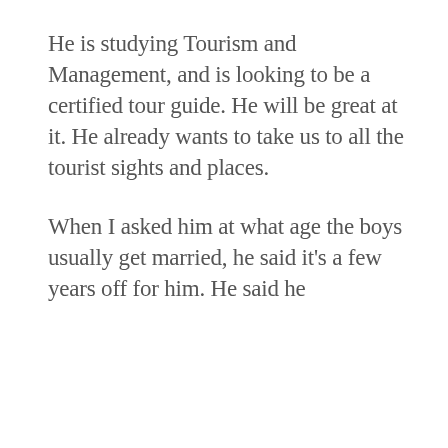He is studying Tourism and Management, and is looking to be a certified tour guide. He will be great at it. He already wants to take us to all the tourist sights and places.
When I asked him at what age the boys usually get married, he said it's a few years off for him. He said he
Privacy & Cookies: This site uses cookies. By continuing to use this website, you agree to their use.
To find out more, including how to control cookies, see here: Cookie Policy
Close and accept